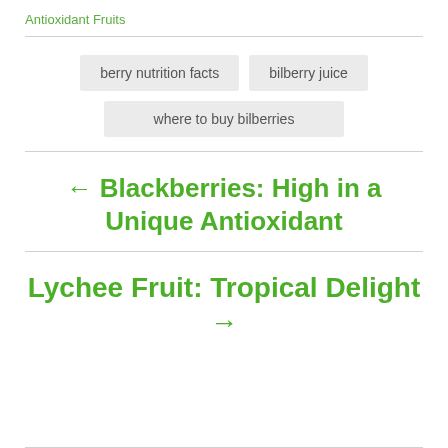Antioxidant Fruits
berry nutrition facts
bilberry juice
where to buy bilberries
← Blackberries: High in a Unique Antioxidant
Lychee Fruit: Tropical Delight →